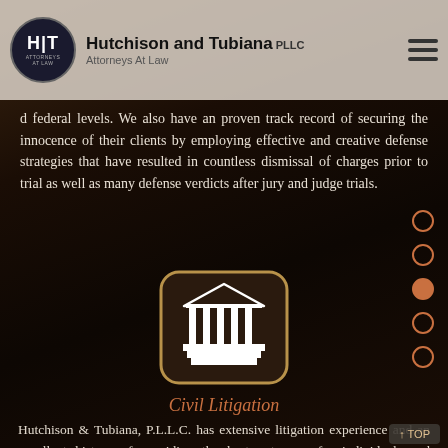Hutchison and Tubiana PLLC — Attorneys At Law
d federal levels. We also have an proven track record of securing the innocence of their clients by employing effective and creative defense strategies that have resulted in countless dismissal of charges prior to trial as well as many defense verdicts after jury and judge trials.
[Figure (illustration): Courthouse / law building icon — white line art on dark rounded-rectangle background with gold border, representing civil litigation]
Civil Litigation
Hutchison & Tubiana, P.L.L.C. has extensive litigation experience and an excellent history of providing the best outcomes for individuals and organizations. Hutchison & Tubiana, P.L.L.C. strive to deliver a superior litigation